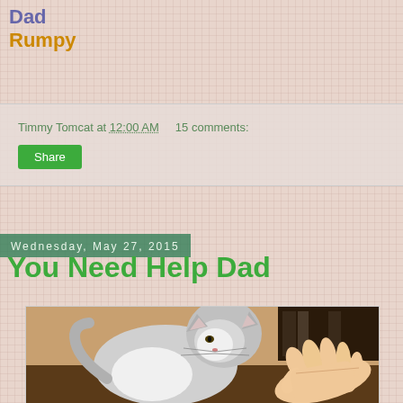Dad
Rumpy
Timmy Tomcat at 12:00 AM    15 comments:
Share
Wednesday, May 27, 2015
You Need Help Dad
[Figure (photo): A gray and white cat sniffing or touching a human hand extended toward it, in an indoor setting]